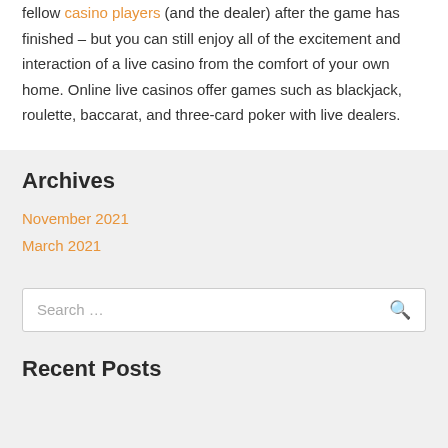fellow casino players (and the dealer) after the game has finished – but you can still enjoy all of the excitement and interaction of a live casino from the comfort of your own home. Online live casinos offer games such as blackjack, roulette, baccarat, and three-card poker with live dealers.
Archives
November 2021
March 2021
Search …
Recent Posts